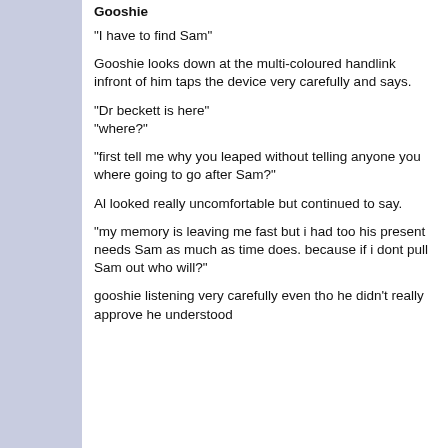Gooshie
"I have to find Sam"
Gooshie looks down at the multi-coloured handlink infront of him taps the device very carefully and says.
"Dr beckett is here"
"where?"
"first tell me why you leaped without telling anyone you where going to go after Sam?"
Al looked really uncomfortable but continued to say.
"my memory is leaving me fast but i had too his present needs Sam as much as time does. because if i dont pull Sam out who will?"
gooshie listening very carefully even tho he didn't really approve he understood